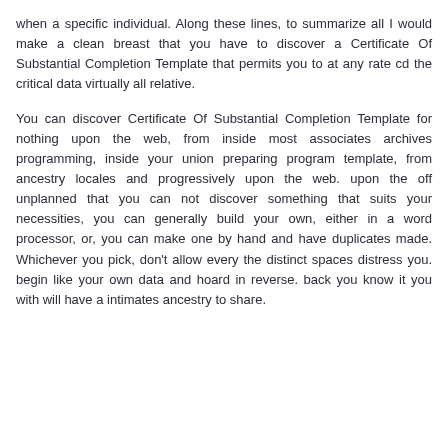when a specific individual. Along these lines, to summarize all I would make a clean breast that you have to discover a Certificate Of Substantial Completion Template that permits you to at any rate cd the critical data virtually all relative.
You can discover Certificate Of Substantial Completion Template for nothing upon the web, from inside most associates archives programming, inside your union preparing program template, from ancestry locales and progressively upon the web. upon the off unplanned that you can not discover something that suits your necessities, you can generally build your own, either in a word processor, or, you can make one by hand and have duplicates made. Whichever you pick, don't allow every the distinct spaces distress you. begin like your own data and hoard in reverse. back you know it you with will have a intimates ancestry to share.